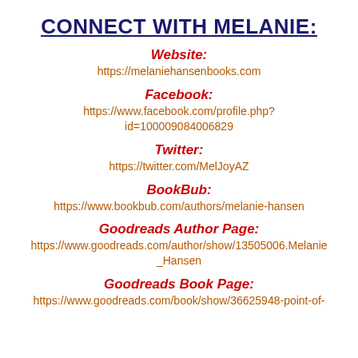CONNECT WITH MELANIE:
Website:
https://melaniehansenbooks.com
Facebook:
https://www.facebook.com/profile.php?id=100009084006829
Twitter:
https://twitter.com/MelJoyAZ
BookBub:
https://www.bookbub.com/authors/melanie-hansen
Goodreads Author Page:
https://www.goodreads.com/author/show/13505006.Melanie_Hansen
Goodreads Book Page:
https://www.goodreads.com/book/show/36625948-point-of-